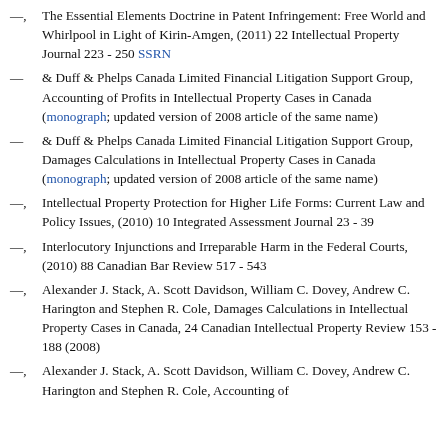—, The Essential Elements Doctrine in Patent Infringement: Free World and Whirlpool in Light of Kirin-Amgen, (2011) 22 Intellectual Property Journal 223 - 250 SSRN
— & Duff & Phelps Canada Limited Financial Litigation Support Group, Accounting of Profits in Intellectual Property Cases in Canada (monograph; updated version of 2008 article of the same name)
— & Duff & Phelps Canada Limited Financial Litigation Support Group, Damages Calculations in Intellectual Property Cases in Canada (monograph; updated version of 2008 article of the same name)
—, Intellectual Property Protection for Higher Life Forms: Current Law and Policy Issues, (2010) 10 Integrated Assessment Journal 23 - 39
—, Interlocutory Injunctions and Irreparable Harm in the Federal Courts, (2010) 88 Canadian Bar Review 517 - 543
—, Alexander J. Stack, A. Scott Davidson, William C. Dovey, Andrew C. Harington and Stephen R. Cole, Damages Calculations in Intellectual Property Cases in Canada, 24 Canadian Intellectual Property Review 153 - 188 (2008)
—, Alexander J. Stack, A. Scott Davidson, William C. Dovey, Andrew C. Harington and Stephen R. Cole, Accounting of...